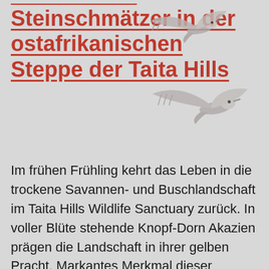Steinschmätzer in der ostafrikanischen Steppe der Taita Hills
[Figure (photo): Two birds (Steinschmätzer / wheatears) in flight shown against a grey background, semi-transparent overlaid on the text.]
Im frühen Frühling kehrt das Leben in die trockene Savannen- und Buschlandschaft im Taita Hills Wildlife Sanctuary zurück. In voller Blüte stehende Knopf-Dorn Akazien prägen die Landschaft in ihrer gelben Pracht. Markantes Merkmal dieser Akazienart ist der Stamm mit seinen knopfartigen Auswüchsen und seine oft lichte Baumkrone. Aber auch Vögel erleben